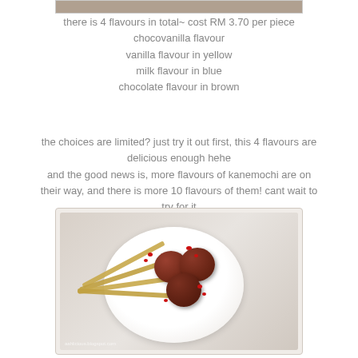[Figure (photo): Partial view of food item at top of page (cropped)]
there is 4 flavours in total~ cost RM 3.70 per piece
chocovanilla flavour
vanilla flavour in yellow
milk flavour in blue
chocolate flavour in brown
the choices are limited? just try it out first, this 4 flavours are delicious enough hehe
and the good news is, more flavours of kanemochi are on their way, and there is more 10 flavours of them! cant wait to try for it
[Figure (photo): Photo of mochi balls on a white plate with wooden skewers and red sauce dots, on a light background]